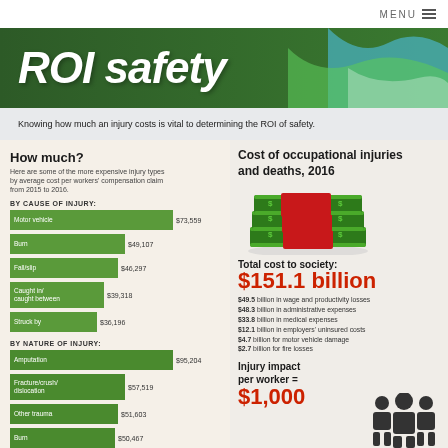MENU
[Figure (infographic): ROI of Safety banner with green background and wave graphic]
Knowing how much an injury costs is vital to determining the ROI of safety.
How much?
Here are some of the more expensive injury types by average cost per workers' compensation claim from 2015 to 2016.
BY CAUSE OF INJURY:
[Figure (bar-chart): By Cause of Injury]
BY NATURE OF INJURY:
[Figure (bar-chart): By Nature of Injury]
Cost of occupational injuries and deaths, 2016
[Figure (illustration): Stack of money/cash bundles illustration]
Total cost to society:
$151.1 billion
$49.5 billion in wage and productivity losses
$48.3 billion in administrative expenses
$33.8 billion in medical expenses
$12.1 billion in employers' uninsured costs
$4.7 billion for motor vehicle damage
$2.7 billion for fire losses
Injury impact per worker =
$1,000
[Figure (illustration): Worker/people icons silhouette]